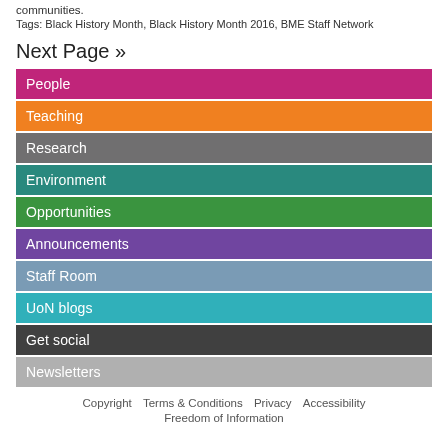communities.
Tags: Black History Month, Black History Month 2016, BME Staff Network
Next Page »
People
Teaching
Research
Environment
Opportunities
Announcements
Staff Room
UoN blogs
Get social
Newsletters
Copyright   Terms & Conditions   Privacy   Accessibility   Freedom of Information